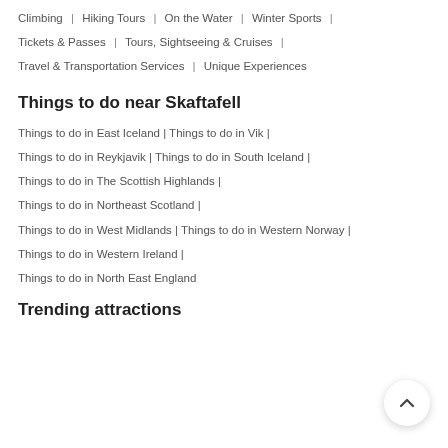Motor Sports | Nature and Wildlife Tours | On the Ground | Climbing | Hiking Tours | On the Water | Winter Sports | Tickets & Passes | Tours, Sightseeing & Cruises | Travel & Transportation Services | Unique Experiences
Things to do near Skaftafell
Things to do in East Iceland | Things to do in Vik | Things to do in Reykjavik | Things to do in South Iceland | Things to do in The Scottish Highlands | Things to do in Northeast Scotland | Things to do in West Midlands | Things to do in Western Norway | Things to do in Western Ireland | Things to do in North East England
Trending attractions